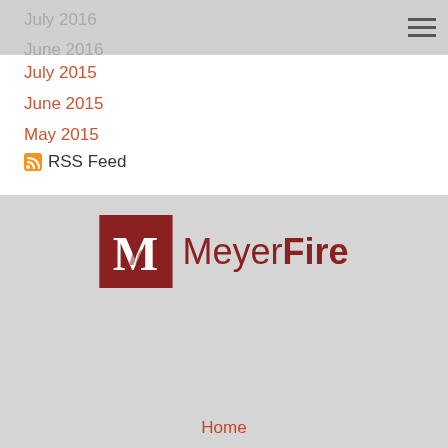July 2016
June 2016
July 2015
June 2015
May 2015
RSS Feed
[Figure (logo): MeyerFire logo with dark red M in a square box and MeyerFire text]
Home